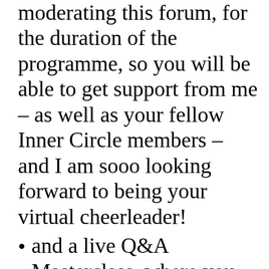moderating this forum, for the duration of the programme, so you will be able to get support from me – as well as your fellow Inner Circle members – and I am sooo looking forward to being your virtual cheerleader!
and a live Q&A Masterclass, where you can be part of the group mentoring and sky-rocket your learning